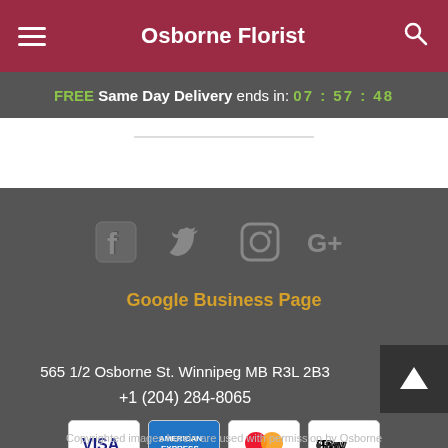Osborne Florist
FREE Same Day Delivery ends in: 07:57:48
[Figure (other): Social media icons: Facebook, Twitter, Instagram, Google+]
Google Business Page
Osborne Florist
565 1/2 Osborne St. Winnipeg MB R3L 2B3
+1 (204) 284-8065
[Figure (other): Payment method icons: VISA, American Express, MasterCard, Apple Pay]
Copyrighted images herein are used with permission by Osborne